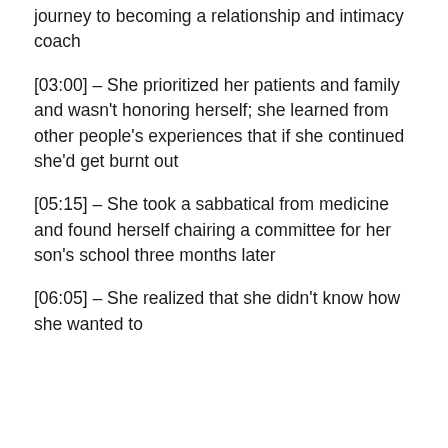journey to becoming a relationship and intimacy coach
[03:00] – She prioritized her patients and family and wasn't honoring herself; she learned from other people's experiences that if she continued she'd get burnt out
[05:15] – She took a sabbatical from medicine and found herself chairing a committee for her son's school three months later
[06:05] – She realized that she didn't know how she wanted to